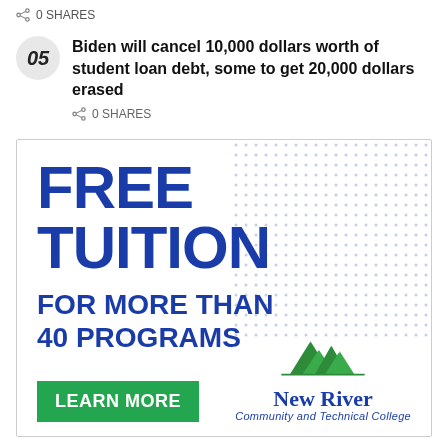0 SHARES
Biden will cancel 10,000 dollars worth of student loan debt, some to get 20,000 dollars erased
0 SHARES
[Figure (illustration): Advertisement for New River Community and Technical College offering free tuition for more than 40 programs, with a 'Learn More' button and the college logo featuring mountain peaks in green.]